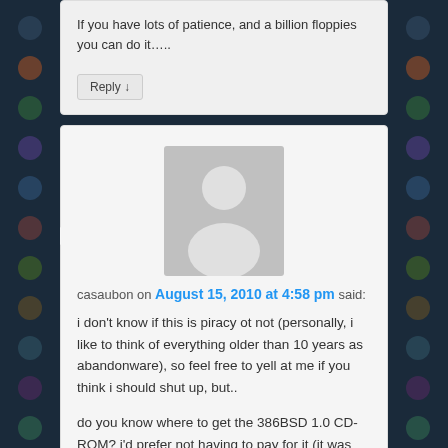If you have lots of patience, and a billion floppies you can do it…..
Reply ↓
[Figure (illustration): Default avatar placeholder image — grey silhouette of a person on grey background]
casaubon on August 15, 2010 at 4:58 pm said:
i don't know if this is piracy ot not (personally, i like to think of everything older than 10 years as abandonware), so feel free to yell at me if you think i should shut up, but..
do you know where to get the 386BSD 1.0 CD-ROM? i'd prefer not having to pay for it (it was free back then, IIRC), but hey, it's worth a few dollars/euros if i can try it out. 🙂